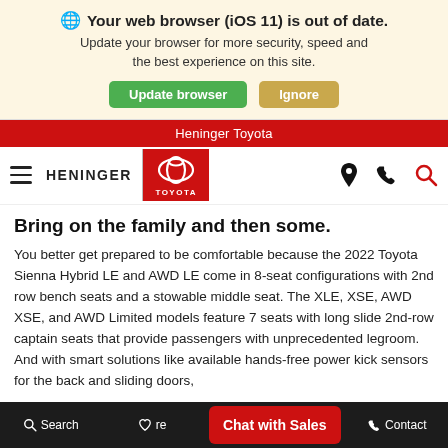🌐 Your web browser (iOS 11) is out of date. Update your browser for more security, speed and the best experience on this site. [Update browser] [Ignore]
Heninger Toyota
[Figure (logo): Heninger Toyota navigation bar with hamburger menu, Heninger | Toyota logo, and location/phone/search icons]
Bring on the family and then some.
You better get prepared to be comfortable because the 2022 Toyota Sienna Hybrid LE and AWD LE come in 8-seat configurations with 2nd row bench seats and a stowable middle seat. The XLE, XSE, AWD XSE, and AWD Limited models feature 7 seats with long slide 2nd-row captain seats that provide passengers with unprecedented legroom. And with smart solutions like available hands-free power kick sensors for the back and sliding doors,
Search   [heart] Compare   Chat with Sales   Contact